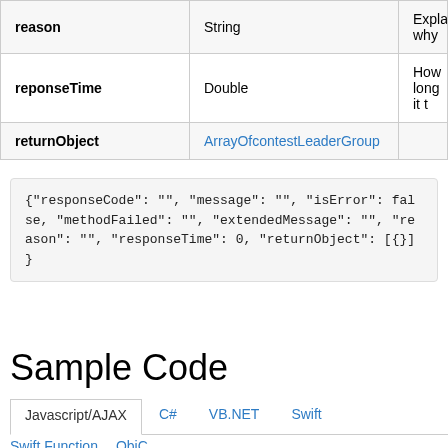| Field | Type | Description |
| --- | --- | --- |
| reason | String | Explains why |
| reponseTime | Double | How long it t |
| returnObject | ArrayOfcontestLeaderGroup |  |
{"responseCode": "", "message": "", "isError": false, "methodFailed": "", "extendedMessage": "", "reason": "", "responseTime": 0, "returnObject": [{}]}
Sample Code
Javascript/AJAX | C# | VB.NET | Swift | Swift Function | ObjC
<!DOCTYPE html>
<html>
<head>
<title>API Call - returnContestLeaders</title>